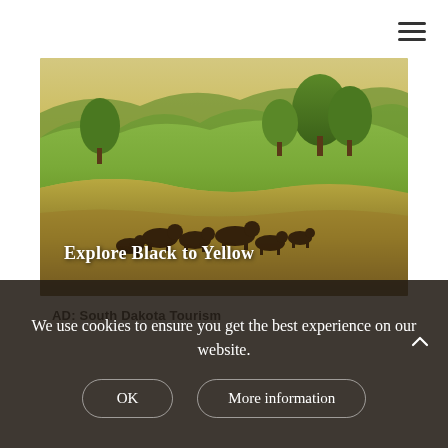[Figure (photo): Landscape photo of rolling green-yellow hills with trees and a herd of bison/buffalo grazing in golden grassland under a warm sky. Text overlay reads 'Explore Black to Yellow'.]
AD: South Dakota Tourism
We use cookies to ensure you get the best experience on our website.
OK
More information